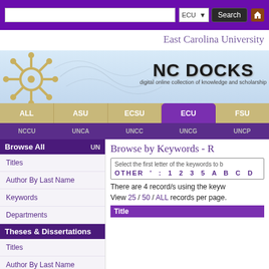[Figure (screenshot): NC DOCKS website screenshot showing East Carolina University library catalog interface with search bar, navigation tabs, and Browse by Keywords page]
East Carolina University
NC DOCKS - digital online collection of knowledge and scholarship
Browse All
Titles
Author By Last Name
Keywords
Departments
Theses & Dissertations
Titles
Author By Last Name
Browse by Keywords - R
Select the first letter of the keywords to b
OTHER ' : 1 2 3 5 A B C D
There are 4 record/s using the keyw
View 25 / 50 / ALL records per page.
Title